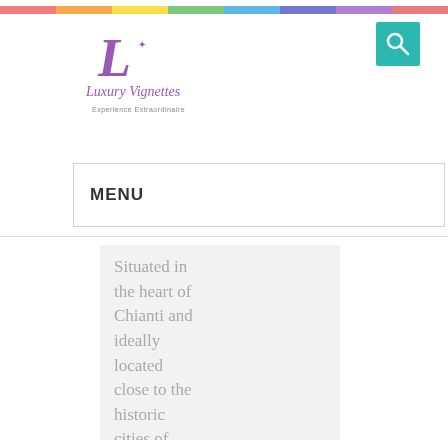[Figure (logo): Luxury Vignettes logo with decorative script text and 'Experience Extraordinaire' tagline]
[Figure (other): Teal/green search icon button]
MENU
Situated in the heart of Chianti and ideally located close to the historic cities of Florence and Siena.